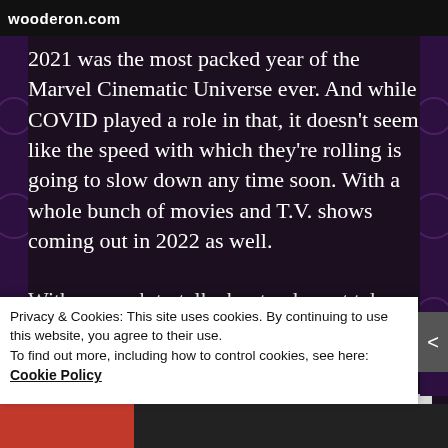wooderon.com
2021 was the most packed year of the Marvel Cinematic Universe ever. And while COVID played a role in that, it doesn't seem like the speed with which they're rolling is going to slow down any time soon. With a whole bunch of movies and T.V. shows coming out in 2022 as well.
With so much to talk about, why not take a day to rank each of these releases in order from worst to best.
Privacy & Cookies: This site uses cookies. By continuing to use this website, you agree to their use.
To find out more, including how to control cookies, see here:
Cookie Policy
Close and accept